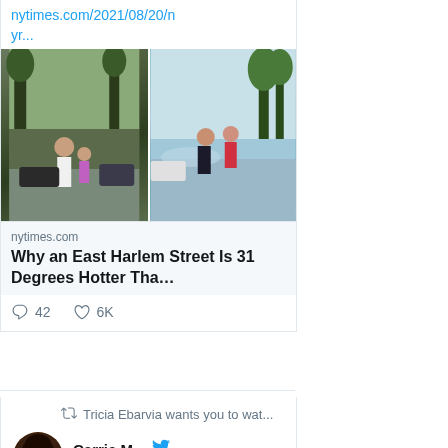nytimes.com/2021/08/20/n yr...
[Figure (photo): Two side-by-side street scene photos showing people on a hot city street in East Harlem]
nytimes.com
Why an East Harlem Street Is 31 Degrees Hotter Tha…
42 comments, 6K likes
Tricia Ebarvia wants you to wat...
[Figure (photo): Profile avatar of Carrie M., a woman with glasses and dark hair]
Carrie M...
@. · Aug 15
Inspired by the brilliant work of @RoomofOnesOwn &